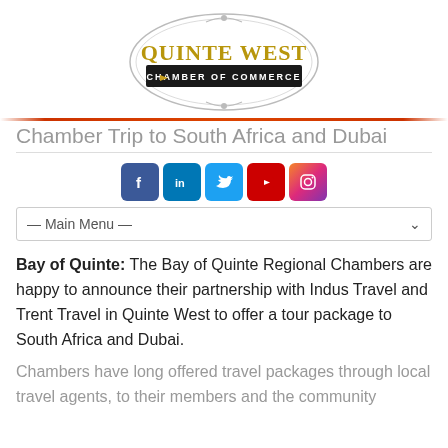[Figure (logo): Quinte West Chamber of Commerce logo — oval badge with decorative scrollwork, gold serif text 'QUINTE WEST' and black banner reading 'CHAMBER OF COMMERCE']
Chamber Trip to South Africa and Dubai
[Figure (infographic): Row of social media icons: Facebook (blue f), LinkedIn (blue in), Twitter (blue bird), YouTube (red play button), Instagram (gradient camera)]
— Main Menu —
Bay of Quinte: The Bay of Quinte Regional Chambers are happy to announce their partnership with Indus Travel and Trent Travel in Quinte West to offer a tour package to South Africa and Dubai.
Chambers have long offered travel packages through local travel agents, to their members and the community